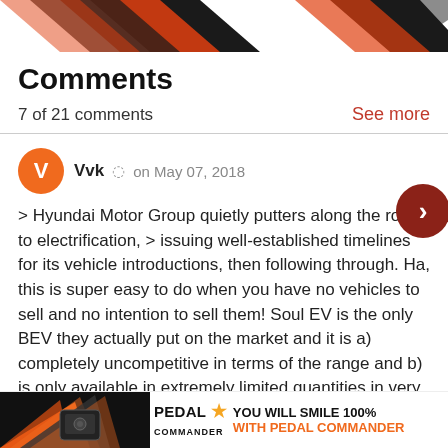[Figure (illustration): Website header graphic with diagonal black and orange chevron/arrow design elements on white background]
Comments
7 of 21 comments
See more
Vvk   on May 07, 2018
> Hyundai Motor Group quietly putters along the road to electrification, > issuing well-established timelines for its vehicle introductions, then following through. Ha, this is super easy to do when you have no vehicles to sell and no intention to sell them! Soul EV is the only BEV they actually put on the market and it is a) completely uncompetitive in terms of the range and b) is only available in extremely limited quantities in very limited markets, not nationally.
[Figure (advertisement): Pedal Commander advertisement banner with orange/black graphic and text YOU WILL SMILE 100% WITH PEDAL COMMANDER]